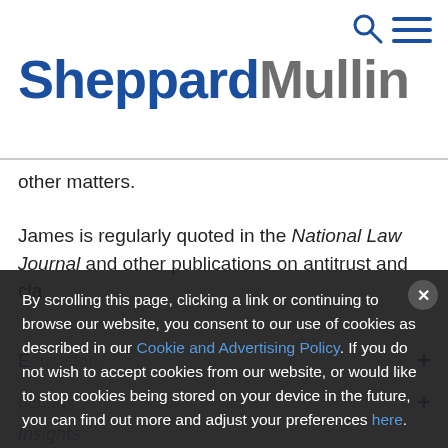[Figure (logo): Sheppard Mullin law firm logo with search and menu icons in header]
other matters.
James is regularly quoted in the National Law Journal and other publications on antitrust and cla...
By scrolling this page, clicking a link or continuing to browse our website, you consent to our use of cookies as described in our Cookie and Advertising Policy. If you do not wish to accept cookies from our website, or would like to stop cookies being stored on your device in the future, you can find out more and adjust your preferences here.